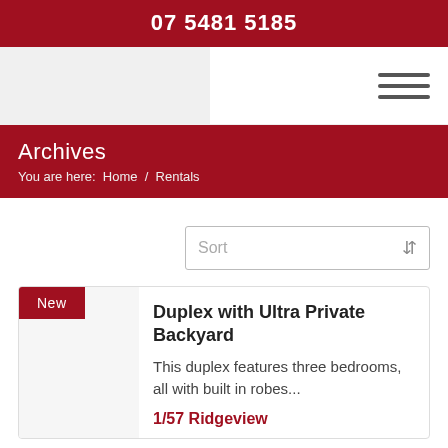07 5481 5185
Archives
You are here:  Home  /  Rentals
Sort
Duplex with Ultra Private Backyard
This duplex features three bedrooms, all with built in robes...
1/57 Ridgeview